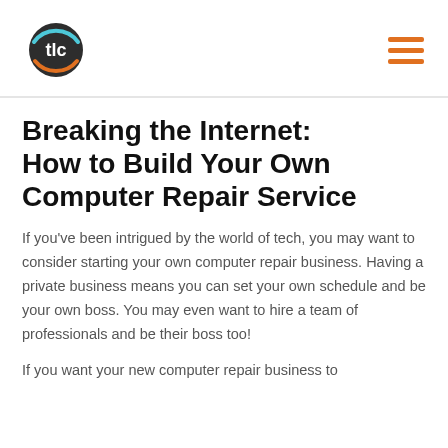[Figure (logo): TLC logo: dark circle with 'tlc' text in white, surrounded by orange and cyan arc segments]
Breaking the Internet: How to Build Your Own Computer Repair Service
If you've been intrigued by the world of tech, you may want to consider starting your own computer repair business. Having a private business means you can set your own schedule and be your own boss. You may even want to hire a team of professionals and be their boss too!
If you want your new computer repair business to